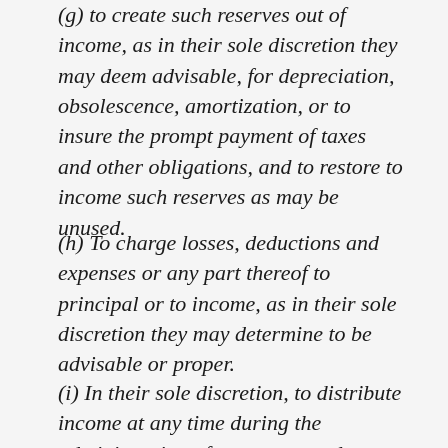(g) to create such reserves out of income, as in their sole discretion they may deem advisable, for depreciation, obsolescence, amortization, or to insure the prompt payment of taxes and other obligations, and to restore to income such reserves as may be unused.
(h) To charge losses, deductions and expenses or any part thereof to principal or to income, as in their sole discretion they may determine to be advisable or proper.
(i) In their sole discretion, to distribute income at any time during the administration of my estate, and to pay interest on any bequest or devise made herein, at such rate as in their